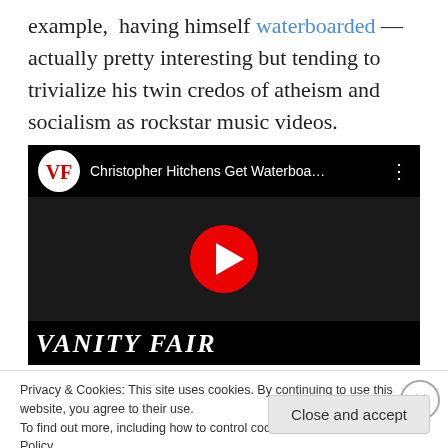example, having himself waterboarded — actually pretty interesting but tending to trivialize his twin credos of atheism and socialism as rockstar music videos.
[Figure (screenshot): YouTube video embed showing 'Christopher Hitchens Get Waterboa...' with Vanity Fair logo, play button over a video thumbnail of a waterboarding scene, with VANITY FAIR text at bottom]
Privacy & Cookies: This site uses cookies. By continuing to use this website, you agree to their use.
To find out more, including how to control cookies, see here: Cookie Policy